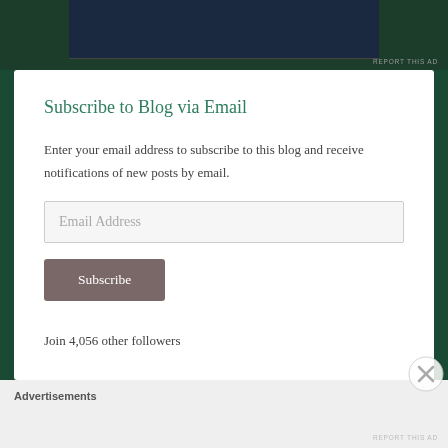[Figure (screenshot): Dark green background with partial advertisement banner at top]
REPORT THIS AD
Subscribe to Blog via Email
Enter your email address to subscribe to this blog and receive notifications of new posts by email.
Email Address
Subscribe
Join 4,056 other followers
Advertisements
REPORT THIS AD